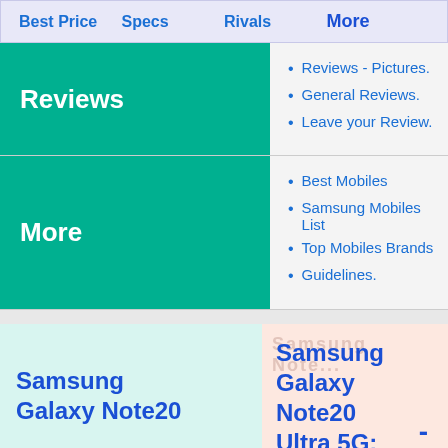Best Price  Specs  Rivals  More
Reviews
Reviews - Pictures.
General Reviews.
Leave your Review.
More
Best Mobiles
Samsung Mobiles List
Top Mobiles Brands
Guidelines.
Samsung Galaxy Note20
Samsung Galaxy Note20 Ultra 5G: